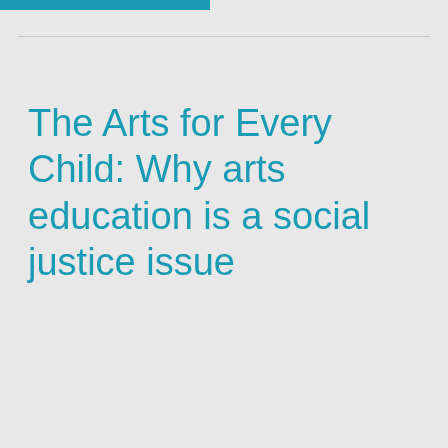The Arts for Every Child: Why arts education is a social justice issue